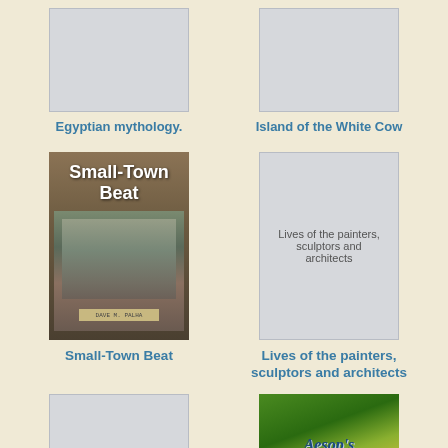[Figure (illustration): Gray placeholder book cover]
Egyptian mythology.
[Figure (illustration): Gray placeholder book cover]
Island of the White Cow
[Figure (photo): Small-Town Beat book cover showing a man at a desk]
Small-Town Beat
[Figure (illustration): Gray placeholder cover with text: Lives of the painters, sculptors and architects]
Lives of the painters, sculptors and architects
[Figure (illustration): Gray placeholder cover with text: Longterm Care Administration Fox]
[Figure (illustration): Aesop's Fables book cover with green and gold design]